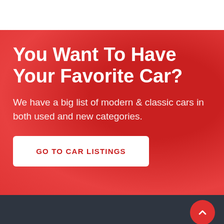You Want To Have Your Favorite Car?
We have a big list of modern & classic cars in both used and new categories.
GO TO CAR LISTINGS